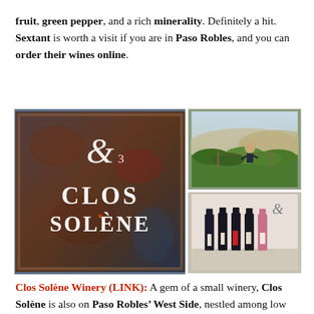fruit, green pepper, and a rich minerality. Definitely a hit. Sextant is worth a visit if you are in Paso Robles, and you can order their wines online.
[Figure (photo): Three photos: large left photo of Clos Solène winery sign (metallic/rustic with decorative ampersand and text CLOS SOLÈNE), top right photo of a man working in a vineyard among green vines with hills in background, bottom right photo of four wine bottles plus one rosé lined up on a table with the Clos Solène decorative logo above them.]
Clos Solène Winery (LINK): A gem of a small winery, Clos Solène is also on Paso Robles' West Side, nestled among low hills. Guillaume and Solène Fabre (LINK) are a French